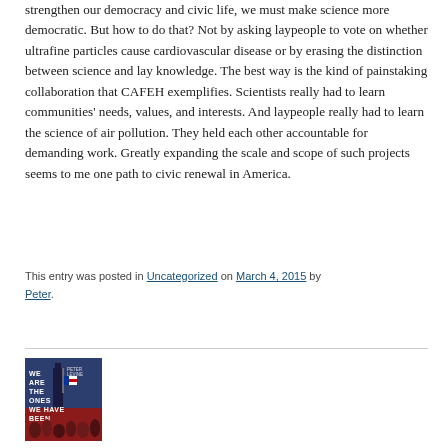strengthen our democracy and civic life, we must make science more democratic. But how to do that? Not by asking laypeople to vote on whether ultrafine particles cause cardiovascular disease or by erasing the distinction between science and lay knowledge. The best way is the kind of painstaking collaboration that CAFEH exemplifies. Scientists really had to learn communities' needs, values, and interests. And laypeople really had to learn the science of air pollution. They held each other accountable for demanding work. Greatly expanding the scale and scope of such projects seems to me one path to civic renewal in America.
This entry was posted in Uncategorized on March 4, 2015 by Peter.
[Figure (illustration): Book cover thumbnail for 'We Are The Ones We Have Been' by Peter Levine, showing crowd with American flag]